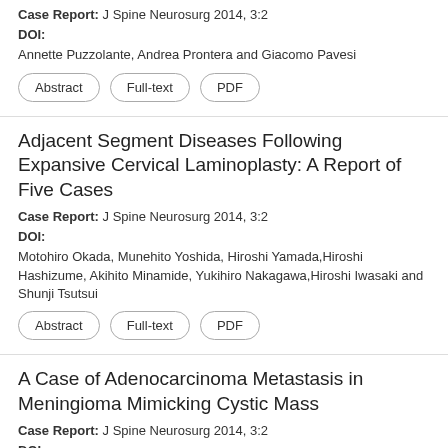Case Report: J Spine Neurosurg 2014, 3:2
DOI:
Annette Puzzolante, Andrea Prontera and Giacomo Pavesi
Abstract | Full-text | PDF
Adjacent Segment Diseases Following Expansive Cervical Laminoplasty: A Report of Five Cases
Case Report: J Spine Neurosurg 2014, 3:2
DOI:
Motohiro Okada, Munehito Yoshida, Hiroshi Yamada, Hiroshi Hashizume, Akihito Minamide, Yukihiro Nakagawa, Hiroshi Iwasaki and Shunji Tsutsui
Abstract | Full-text | PDF
A Case of Adenocarcinoma Metastasis in Meningioma Mimicking Cystic Mass
Case Report: J Spine Neurosurg 2014, 3:2
DOI:
Mehmet Seçer, Murat Ulutaş, Dilek Özenç, Güliz Özkök and Gökmen Çoban
Abstract | Full-text | PDF